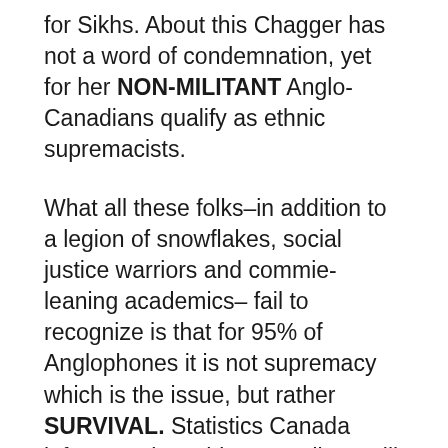for Sikhs. About this Chagger has not a word of condemnation, yet for her NON-MILITANT Anglo-Canadians qualify as ethnic supremacists.
What all these folks–in addition to a legion of snowflakes, social justice warriors and commie-leaning academics– fail to recognize is that for 95% of Anglophones it is not supremacy which is the issue, but rather SURVIVAL. Statistics Canada inform us that white Canadians will become a minority in Canada within a generation. This, however, is only part of the picture.
The other component of our anxiety as an identifiable Canadian community is the caustic manner the Trudeau government